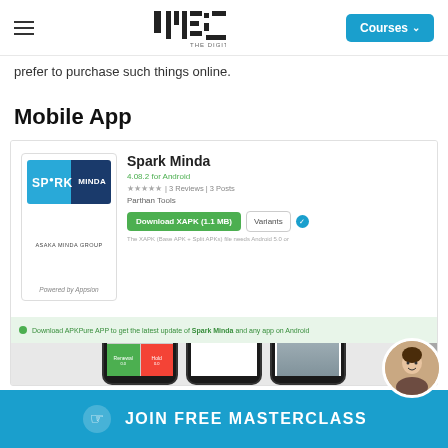IIDE – THE DIGITAL SCHOOL | Courses
prefer to purchase such things online.
Mobile App
[Figure (screenshot): Screenshot of Spark Minda app listing on APKPure for Android, showing app icon, name, version 4.08.2, star rating, Download XAPK button, and three phone mockups showing the app interface with colored grid, table/list, and dashboard screens.]
JOIN FREE MASTERCLASS